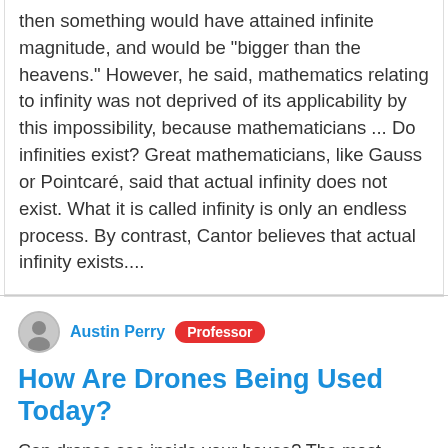then something would have attained infinite magnitude, and would be "bigger than the heavens." However, he said, mathematics relating to infinity was not deprived of its applicability by this impossibility, because mathematicians ... Do infinities exist? Great mathematicians, like Gauss or Pointcaré, said that actual infinity does not exist. What it is called infinity is only an endless process. By contrast, Cantor believes that actual infinity exists....
[Figure (photo): Circular avatar/profile photo placeholder of Austin Perry]
Austin Perry
Professor
How Are Drones Being Used Today?
Can drones see inside your house? The most logical answer would be, No drones can't see inside your house....Technology